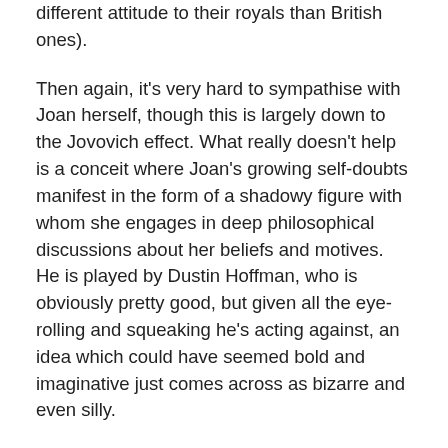different attitude to their royals than British ones).
Then again, it's very hard to sympathise with Joan herself, though this is largely down to the Jovovich effect. What really doesn't help is a conceit where Joan's growing self-doubts manifest in the form of a shadowy figure with whom she engages in deep philosophical discussions about her beliefs and motives. He is played by Dustin Hoffman, who is obviously pretty good, but given all the eye-rolling and squeaking he's acting against, an idea which could have seemed bold and imaginative just comes across as bizarre and even silly.
This is a slight shame, as Joan's wrestling with her self-doubt (realised through the metaphor of the Hoffman character) really makes up the climax of the film – the concluding bonfire isn't really dwelt upon, possibly wisely,